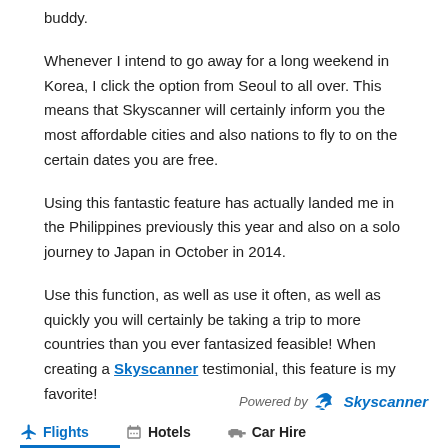buddy.
Whenever I intend to go away for a long weekend in Korea, I click the option from Seoul to all over. This means that Skyscanner will certainly inform you the most affordable cities and also nations to fly to on the certain dates you are free.
Using this fantastic feature has actually landed me in the Philippines previously this year and also on a solo journey to Japan in October in 2014.
Use this function, as well as use it often, as well as quickly you will certainly be taking a trip to more countries than you ever fantasized feasible! When creating a Skyscanner testimonial, this feature is my favorite!
[Figure (logo): Powered by Skyscanner logo with sun/wing icon]
Flights  Hotels  Car Hire  navigation bar